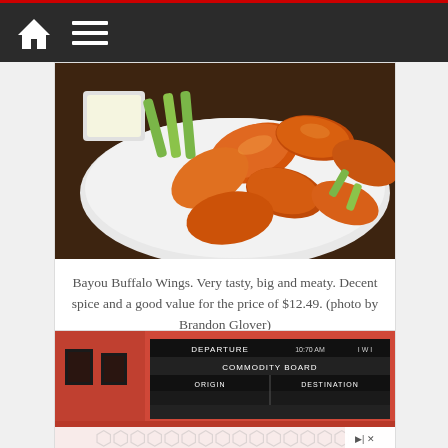Navigation bar with home and menu icons
[Figure (photo): Bayou Buffalo Wings on a white plate with celery and dipping sauce on a dark wooden table]
Bayou Buffalo Wings. Very tasty, big and meaty. Decent spice and a good value for the price of $12.49. (photo by Brandon Glover)
[Figure (photo): Restaurant interior with red ambient lighting, framed pictures on the wall, and a commodity board showing DEPARTURE, COMMODITY BOARD, ORIGIN, DESTINATION columns. An advertisement overlay with hexagonal pattern partially covers the bottom.]